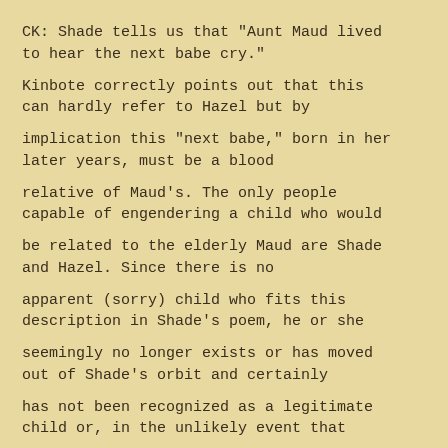CK: Shade tells us that "Aunt Maud lived to hear the next babe cry."
Kinbote correctly points out that this can hardly refer to Hazel but by
implication this "next babe," born in her later years, must be a blood
relative of Maud's. The only people capable of engendering a child who would
be related to the elderly Maud are Shade and Hazel. Since there is no
apparent (sorry) child who fits this description in Shade's poem, he or she
seemingly no longer exists or has moved out of Shade's orbit and certainly
has not been recognized as a legitimate child or, in the unlikely event that
Hazel is the parent, grandchild.